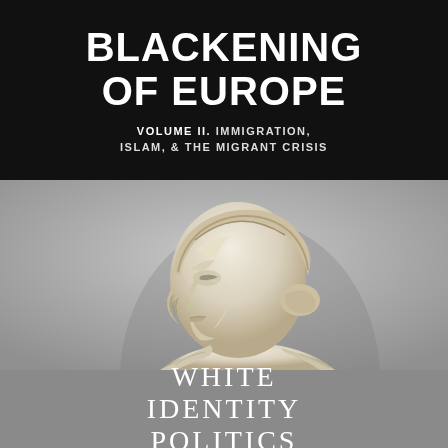BLACKENING OF EUROPE
VOLUME II. IMMIGRATION, ISLAM, & THE MIGRANT CRISIS
[Figure (photo): Classical marble or stone sculpture of a woman's head and bust in profile, facing left, wearing a decorative helmet or headpiece, with curled hair visible. The background is a muted grey.]
WHITE IDENTITY POLITICS